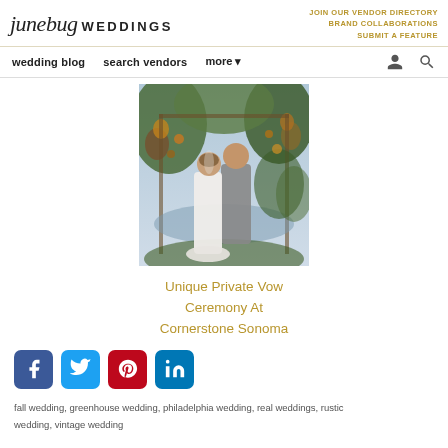junebug WEDDINGS | JOIN OUR VENDOR DIRECTORY BRAND COLLABORATIONS SUBMIT A FEATURE
wedding blog  search vendors  more
[Figure (photo): Couple kissing under a floral arch at Cornerstone Sonoma]
Unique Private Vow Ceremony At Cornerstone Sonoma
[Figure (infographic): Social media share icons: Facebook, Twitter, Pinterest, LinkedIn]
fall wedding, greenhouse wedding, philadelphia wedding, real weddings, rustic wedding, vintage wedding